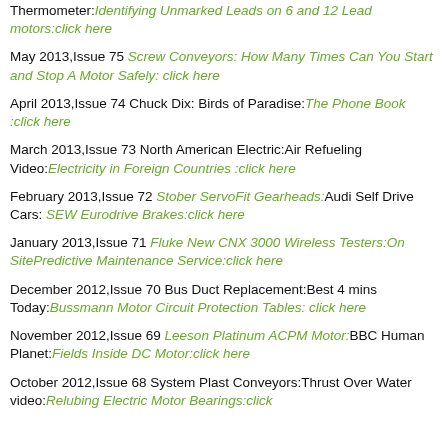Thermometer:Identifying Unmarked Leads on 6 and 12 Lead motors:click here
May 2013,Issue 75 Screw Conveyors: How Many Times Can You Start and Stop A Motor Safely: click here
April 2013,Issue 74 Chuck Dix: Birds of Paradise:The Phone Book :click here
March 2013,Issue 73 North American Electric:Air Refueling Video:Electricity in Foreign Countries :click here
February 2013,Issue 72 Stober ServoFit Gearheads:Audi Self Drive Cars: SEW Eurodrive Brakes:click here
January 2013,Issue 71 Fluke New CNX 3000 Wireless Testers:On SitePredictive Maintenance Service:click here
December 2012,Issue 70 Bus Duct Replacement:Best 4 mins Today:Bussmann Motor Circuit Protection Tables: click here
November 2012,Issue 69 Leeson Platinum ACPM Motor:BBC Human Planet:Fields Inside DC Motor:click here
October 2012,Issue 68 System Plast Conveyors:Thrust Over Water video:Relubing Electric Motor Bearings:click